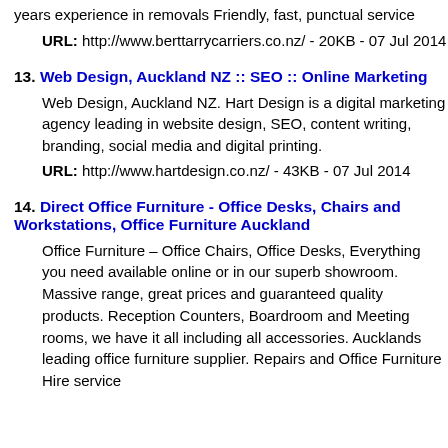years experience in removals Friendly, fast, punctual service
URL: http://www.berttarrycarriers.co.nz/ - 20KB - 07 Jul 2014
13. Web Design, Auckland NZ :: SEO :: Online Marketing
Web Design, Auckland NZ. Hart Design is a digital marketing agency leading in website design, SEO, content writing, branding, social media and digital printing.
URL: http://www.hartdesign.co.nz/ - 43KB - 07 Jul 2014
14. Direct Office Furniture - Office Desks, Chairs and Workstations, Office Furniture Auckland
Office Furniture – Office Chairs, Office Desks, Everything you need available online or in our superb showroom. Massive range, great prices and guaranteed quality products. Reception Counters, Boardroom and Meeting rooms, we have it all including all accessories. Aucklands leading office furniture supplier. Repairs and Office Furniture Hire service